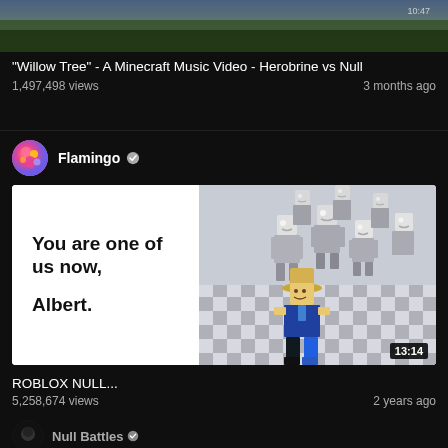[Figure (screenshot): Partial thumbnail of a Minecraft music video at the top of the page]
"Willow Tree" - A Minecraft Music Video - Herobrine vs Null
1,497,498 views · 3 months ago
[Figure (screenshot): Flamingo YouTube channel avatar - colorful circular avatar with pink creature]
Flamingo ✓
[Figure (screenshot): Roblox NULL video thumbnail showing blocky Roblox characters on a checkerboard floor with text 'You are one of us now, Albert.' and duration 13:14]
ROBLOX NULL...
5,258,674 views · 2 years ago
[Figure (screenshot): Null Battles channel avatar - dark circular avatar partially visible at bottom]